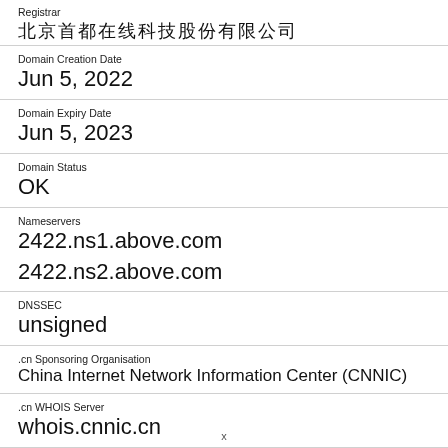Registrar
北京首都在线科技股份有限公司
Domain Creation Date
Jun 5, 2022
Domain Expiry Date
Jun 5, 2023
Domain Status
OK
Nameservers
2422.ns1.above.com
2422.ns2.above.com
DNSSEC
unsigned
.cn Sponsoring Organisation
China Internet Network Information Center (CNNIC)
.cn WHOIS Server
whois.cnnic.cn